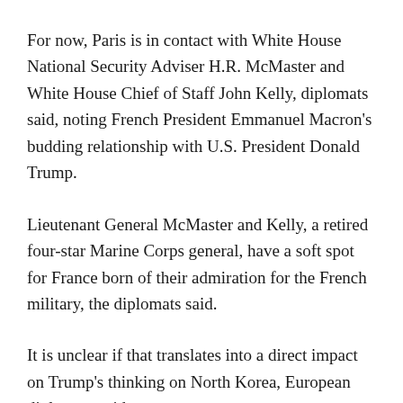For now, Paris is in contact with White House National Security Adviser H.R. McMaster and White House Chief of Staff John Kelly, diplomats said, noting French President Emmanuel Macron's budding relationship with U.S. President Donald Trump.
Lieutenant General McMaster and Kelly, a retired four-star Marine Corps general, have a soft spot for France born of their admiration for the French military, the diplomats said.
It is unclear if that translates into a direct impact on Trump's thinking on North Korea, European diplomats said.